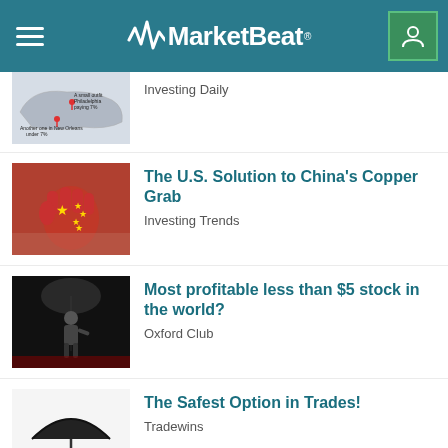MarketBeat
[Figure (screenshot): Partial article thumbnail showing a US map with location pins]
Investing Daily
[Figure (photo): Red fist painted with Chinese flag pattern]
The U.S. Solution to China's Copper Grab
Investing Trends
[Figure (photo): Man in suit speaking on a dark stage]
Most profitable less than $5 stock in the world?
Oxford Club
[Figure (photo): Hand holding a black umbrella with coins below]
The Safest Option in Trades!
Tradewins